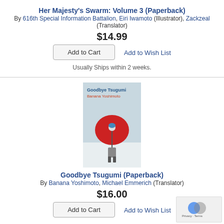Her Majesty's Swarm: Volume 3 (Paperback)
By 616th Special Information Battalion, Eiri Iwamoto (Illustrator), Zackzeal (Translator)
$14.99
Add to Wish List
Add to Cart
Usually Ships within 2 weeks.
[Figure (illustration): Book cover of Goodbye Tsugumi by Banana Yoshimoto showing a person with a red umbrella from behind in a snowy scene]
Goodbye Tsugumi (Paperback)
By Banana Yoshimoto, Michael Emmerich (Translator)
$16.00
Add to Wish List
Add to Cart